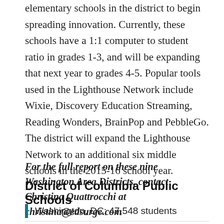elementary schools in the district to begin spreading innovation. Currently, these schools have a 1:1 computer to student ratio in grades 1-3, and will be expanding that next year to grades 4-5. Popular tools used in the Lighthouse Network include Wixie, Discovery Education Streaming, Reading Wonders, BrainPop and PebbleGo. The district will expand the Lighthouse Network to an additional six middle schools in the 2015-16 school year.
For the full report on these nine Washington Area Districts, contact Christina Quattrocchi at christina@edsurge.com
District of Columbia Public Schools
Washington, DC; 47,548 students